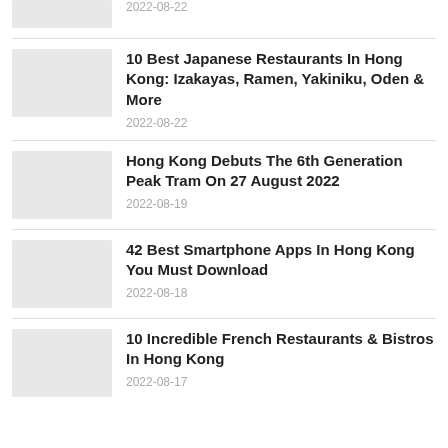2022-08-22
10 Best Japanese Restaurants In Hong Kong: Izakayas, Ramen, Yakiniku, Oden & More
2022-08-22
Hong Kong Debuts The 6th Generation Peak Tram On 27 August 2022
2022-08-19
42 Best Smartphone Apps In Hong Kong You Must Download
2022-08-18
10 Incredible French Restaurants & Bistros In Hong Kong
2022-08-17